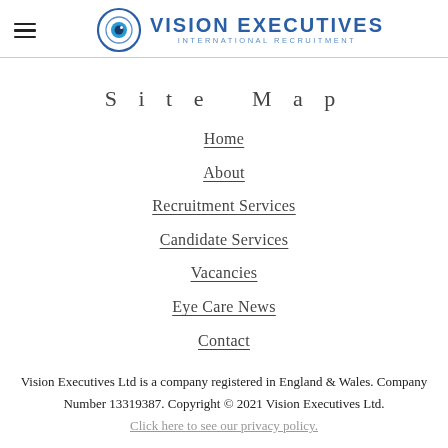VISION EXECUTIVES INTERNATIONAL RECRUITMENT
Site Map
Home
About
Recruitment Services
Candidate Services
Vacancies
Eye Care News
Contact
Vision Executives Ltd is a company registered in England & Wales. Company Number 13319387. Copyright © 2021 Vision Executives Ltd.
Click here to see our privacy policy.